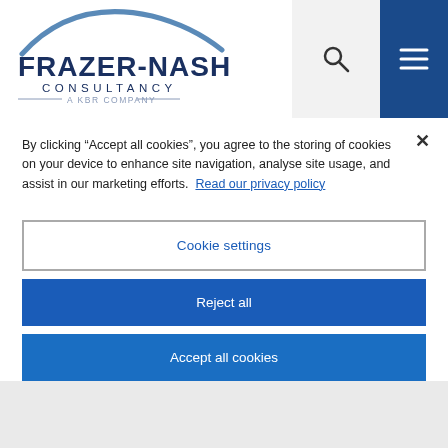[Figure (logo): Frazer-Nash Consultancy, A KBR Company logo with arc graphic above text]
Our solution
We began by creating a cost effectiveness analysis
By clicking “Accept all cookies”, you agree to the storing of cookies on your device to enhance site navigation, analyse site usage, and assist in our marketing efforts. Read our privacy policy
Cookie settings
Reject all
Accept all cookies